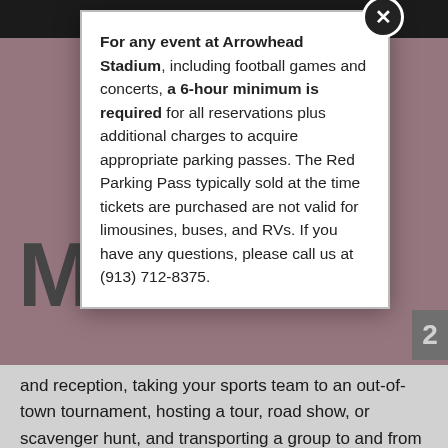For any event at Arrowhead Stadium, including football games and concerts, a 6-hour minimum is required for all reservations plus additional charges to acquire appropriate parking passes. The Red Parking Pass typically sold at the time tickets are purchased are not valid for limousines, buses, and RVs. If you have any questions, please call us at (913) 712-8375.
and reception, taking your sports team to an out-of-town tournament, hosting a tour, road show, or scavenger hunt, and transporting a group to and from the airport.
Multiple Sizes Available Including 14-, 24-, 28- & 32-Passenger